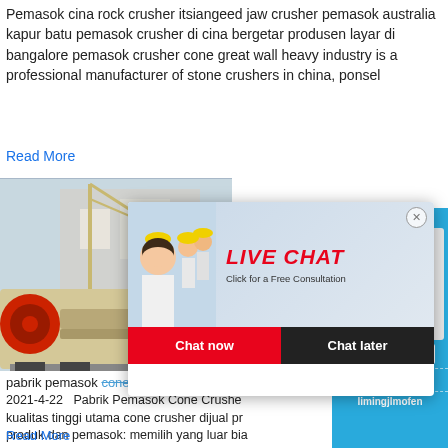Pemasok cina rock crusher itsiangeed jaw crusher pemasok australia kapur batu pemasok crusher di cina bergetar produsen layar di bangalore pemasok crusher cone great wall heavy industry is a professional manufacturer of stone crushers in china, ponsel
Read More
[Figure (photo): Heavy industrial stone crusher machine on a mobile platform]
[Figure (screenshot): Live chat popup overlay with person in hard hat. Title: LIVE CHAT. Subtitle: Click for a Free Consultation. Buttons: Chat now, Chat later.]
[Figure (photo): Right sidebar showing a cone crusher machine image with blue background, hour online text, Click me to chat>> button, Enquiry section, and limingjlmofen text]
pabrik pemasok cone crusher di cina
2021-4-22   Pabrik Pemasok Cone Crusher kualitas tinggi utama cone crusher dijual pr produk dan pemasok: memilih yang luar bia crusher dijual di alibaba memberdayakan p merasakan produktivitas yang luar ...
Read More